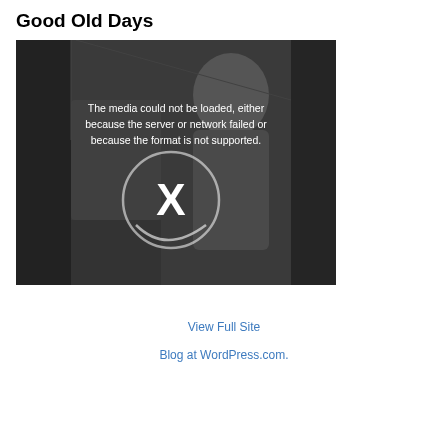Good Old Days
[Figure (screenshot): Video player showing a media error. Dark grayscale background with a person visible. White error text reads: 'The media could not be loaded, either because the server or network failed or because the format is not supported.' A broken media icon (X in a circle) is displayed in the center.]
View Full Site
Blog at WordPress.com.